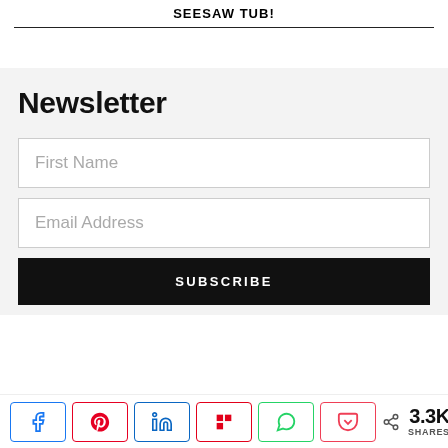SEESAW TUB!
Newsletter
First Name
Email Address
SUBSCRIBE
3.3K SHARES